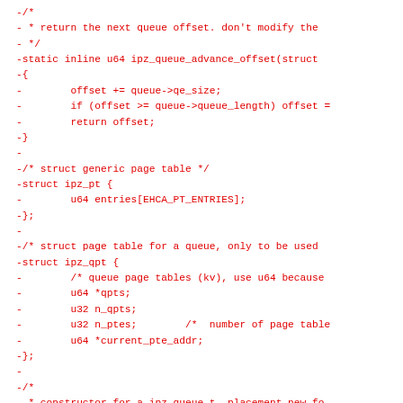-/*
- * return the next queue offset. don't modify the
- */
-static inline u64 ipz_queue_advance_offset(struct
-{
-        offset += queue->qe_size;
-        if (offset >= queue->queue_length) offset =
-        return offset;
-}
-
-/* struct generic page table */
-struct ipz_pt {
-        u64 entries[EHCA_PT_ENTRIES];
-};
-
-/* struct page table for a queue, only to be used
-struct ipz_qpt {
-        /* queue page tables (kv), use u64 because
-        u64 *qpts;
-        u32 n_qpts;
-        u32 n_ptes;        /*  number of page table
-        u64 *current_pte_addr;
-};
-
-/*
- * constructor for a ipz_queue_t, placement new fo
- * new for all dependent datastructors